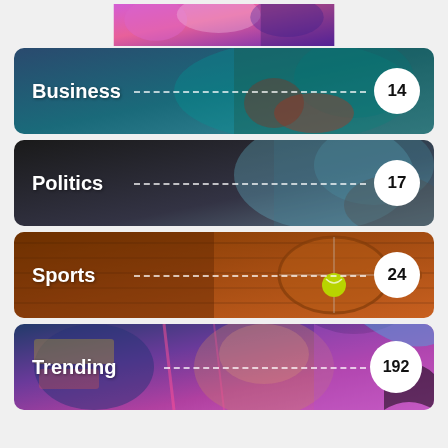[Figure (screenshot): Partial category card at top of page, showing purple/pink background, partially cropped]
[Figure (screenshot): Business category card with teal backpack photo background, showing label 'Business' and count badge '14']
[Figure (screenshot): Politics category card with dark sport/tennis photo background, showing label 'Politics' and count badge '17']
[Figure (screenshot): Sports category card with brown clay tennis court photo background, showing label 'Sports' and count badge '24']
[Figure (screenshot): Trending category card with colorful graffiti/street art photo background, showing label 'Trending' and count badge '192']